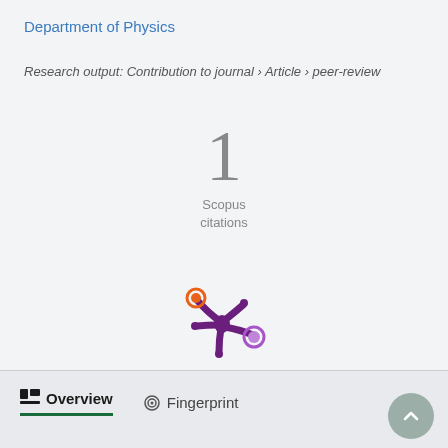Department of Physics
Research output: Contribution to journal › Article › peer-review
1
Scopus
citations
[Figure (logo): Altmetric donut-style starburst logo in purple with orange and purple colored dots]
Overview   Fingerprint